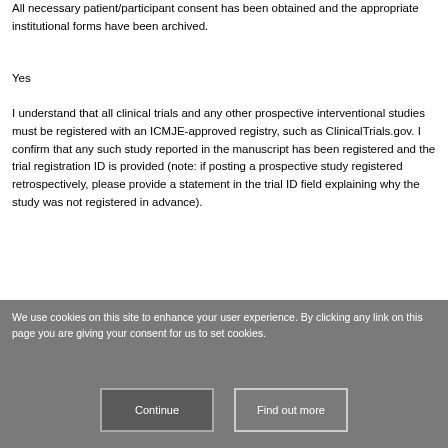All necessary patient/participant consent has been obtained and the appropriate institutional forms have been archived.
Yes
I understand that all clinical trials and any other prospective interventional studies must be registered with an ICMJE-approved registry, such as ClinicalTrials.gov. I confirm that any such study reported in the manuscript has been registered and the trial registration ID is provided (note: if posting a prospective study registered retrospectively, please provide a statement in the trial ID field explaining why the study was not registered in advance).
We use cookies on this site to enhance your user experience. By clicking any link on this page you are giving your consent for us to set cookies.